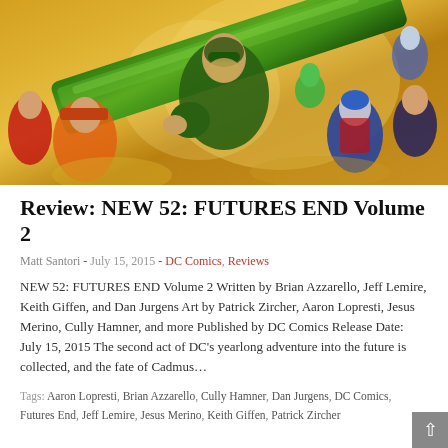[Figure (illustration): Comic book cover art showing multiple superhero characters including Green Arrow prominently in the center foreground holding a large green arrow/bow, with other heroes in the background against a golden/yellow background]
Review: NEW 52: FUTURES END Volume 2
Matt Santori - July 15, 2015 - DC Comics, Reviews
NEW 52: FUTURES END Volume 2 Written by Brian Azzarello, Jeff Lemire, Keith Giffen, and Dan Jurgens Art by Patrick Zircher, Aaron Lopresti, Jesus Merino, Cully Hamner, and more Published by DC Comics Release Date: July 15, 2015 The second act of DC's yearlong adventure into the future is collected, and the fate of Cadmus…
Tags: Aaron Lopresti, Brian Azzarello, Cully Hamner, Dan Jurgens, DC Comics, Futures End, Jeff Lemire, Jesus Merino, Keith Giffen, Patrick Zircher